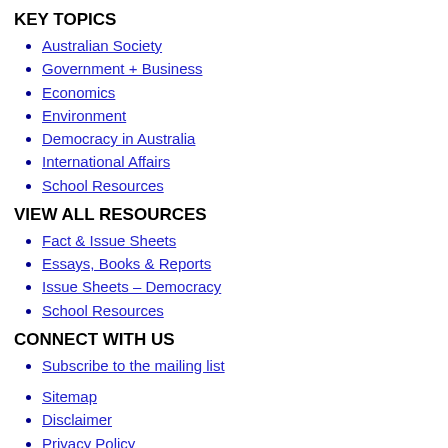KEY TOPICS
Australian Society
Government + Business
Economics
Environment
Democracy in Australia
International Affairs
School Resources
VIEW ALL RESOURCES
Fact & Issue Sheets
Essays, Books & Reports
Issue Sheets – Democracy
School Resources
CONNECT WITH US
Subscribe to the mailing list
Sitemap
Disclaimer
Privacy Policy